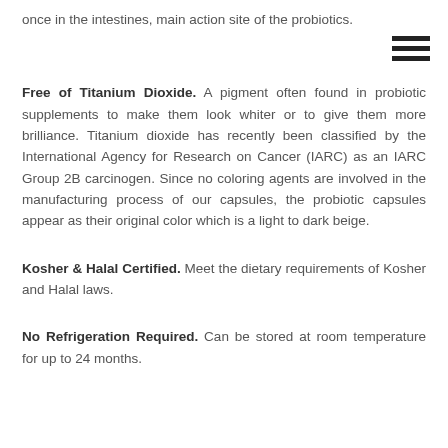once in the intestines, main action site of the probiotics.
[Figure (other): Hamburger menu icon (three horizontal lines)]
Free of Titanium Dioxide. A pigment often found in probiotic supplements to make them look whiter or to give them more brilliance. Titanium dioxide has recently been classified by the International Agency for Research on Cancer (IARC) as an IARC Group 2B carcinogen. Since no coloring agents are involved in the manufacturing process of our capsules, the probiotic capsules appear as their original color which is a light to dark beige.
Kosher & Halal Certified. Meet the dietary requirements of Kosher and Halal laws.
No Refrigeration Required. Can be stored at room temperature for up to 24 months.